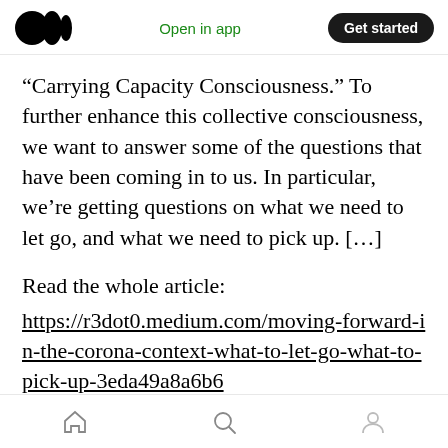Medium logo | Open in app | Get started
“Carrying Capacity Consciousness.” To further enhance this collective consciousness, we want to answer some of the questions that have been coming in to us. In particular, we’re getting questions on what we need to let go, and what we need to pick up. […]
Read the whole article:
https://r3dot0.medium.com/moving-forward-in-the-corona-context-what-to-let-go-what-to-pick-up-3eda49a8a6b6
Watch out for our 2021 Medium articles, starting
Home | Search | Profile